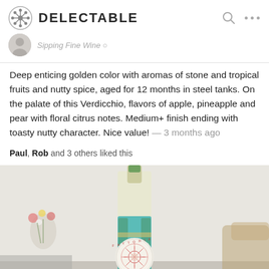DELECTABLE
Sipping Fine Wine
Deep enticing golden color with aromas of stone and tropical fruits and nutty spice, aged for 12 months in steel tanks. On the palate of this Verdicchio, flavors of apple, pineapple and pear with floral citrus notes. Medium+ finish ending with toasty nutty character. Nice value! — 3 months ago
Paul, Rob and 3 others liked this
[Figure (photo): A wine bottle with a turquoise and gold label reading FATTORIA CORONCINO, with a decorative circular red design showing a face, placed in front of a blurred background with flowers and furniture.]